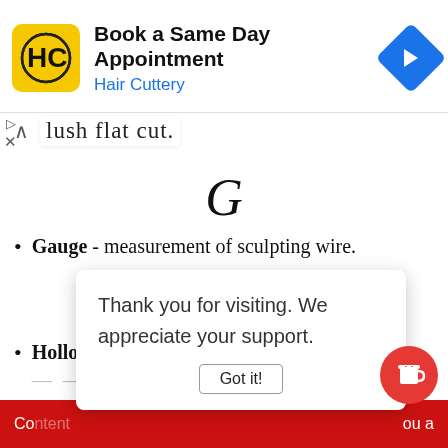[Figure (screenshot): Hair Cuttery advertisement banner: yellow square logo with HC, text 'Book a Same Day Appointment' and 'Hair Cuttery' in blue, blue diamond navigation icon]
flush flat cut.
G
Gauge - measurement of sculpting wire.
H
Hollow Nose Pliers - An unusual set of ... ops in
Thank you for visiting. We appreciate your support.
Co... ou a
Got it!